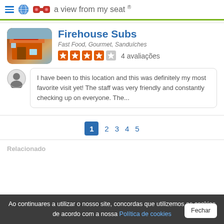a view from my seat ®
Firehouse Subs
Fast Food, Gourmet, Sanduíches
4 avaliações
I have been to this location and this was definitely my most favorite visit yet! The staff was very friendly and constantly checking up on everyone. The...
1 2 3 4 5
Relacionado
Ao continuares a utilizar o nosso site, concordas que utilizemos as cookies de acordo com a nossa Política de cookies Fechar